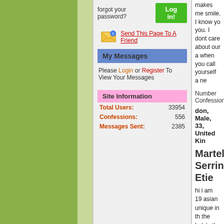forgot your password?
Log in!
Send This Page To A Friend
My Messages
Please Login or Register To View Your Messages
Site Information
| Label | Value |
| --- | --- |
| Total Users: | 33954 |
| Confessions: | 556 |
| Messages Sent: | 2385 |
makes me smile. I know yo... you. I dont care about our a... when you call yourself a ne...
Number Confessions(1)
don, Male, 33, United Kin...
Martelle Serrine Etie...
hi i am 19 asian unique in th... the lady's the oldest being 4... loved workn thr i also had c... friend whom i got 2 knw ve... more...
Number Confessions(1)
theboss, Male, 77, Zambia...
Sex with the maid
I'm a white farmer in southe... one of our maids seemed to... hell of a sexual reaction to h... days later I had sex with her... occasionally when my wife...
Number Confessions(1)
NotHalfOfIt, Male, 34, So...